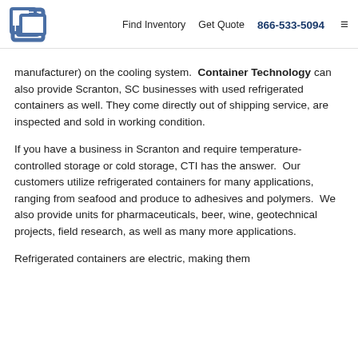Find Inventory  Get Quote  866-533-5094
manufacturer) on the cooling system.  Container Technology can also provide Scranton, SC businesses with used refrigerated containers as well. They come directly out of shipping service, are inspected and sold in working condition.
If you have a business in Scranton and require temperature-controlled storage or cold storage, CTI has the answer.  Our customers utilize refrigerated containers for many applications, ranging from seafood and produce to adhesives and polymers.  We also provide units for pharmaceuticals, beer, wine, geotechnical projects, field research, as well as many more applications.
Refrigerated containers are electric, making them